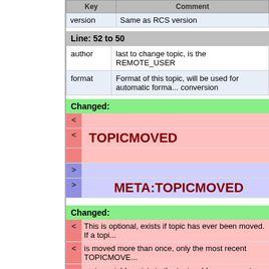| Key | Comment |
| --- | --- |
| version | Same as RCS version |
Line: 52 to 50
| author | last to change topic, is the REMOTE_USER |
| format | Format of this topic, will be used for automatic forma... conversion |
Changed:
< TOPICMOVED
> META:TOPICMOVED
Changed:
< This is optional, exists if topic has ever been moved. If a topi...
< is moved more than once, only the most recent TOPICMOVE...
meta variable exists in the topic, older ones are to be found i...
the rcs history.
> This is optional, exists if topic has ever been moved. If a topi...